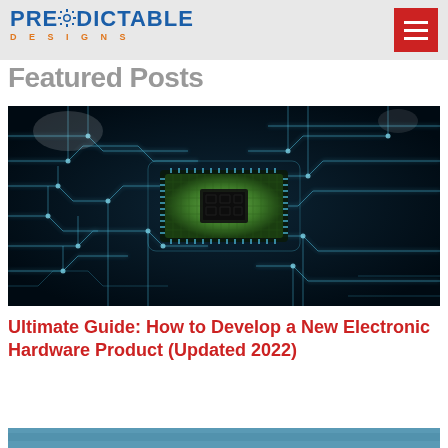PREDICTABLE DESIGNS
Featured Posts
[Figure (photo): Close-up photograph of a green microprocessor/CPU chip mounted on a black circuit board with glowing light blue circuit traces]
Ultimate Guide: How to Develop a New Electronic Hardware Product (Updated 2022)
[Figure (photo): Partial view of another article thumbnail at the bottom of the page]